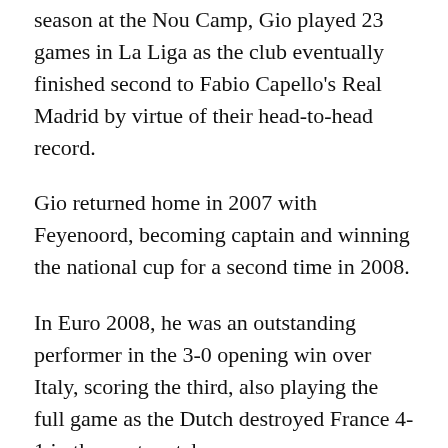season at the Nou Camp, Gio played 23 games in La Liga as the club eventually finished second to Fabio Capello's Real Madrid by virtue of their head-to-head record.
Gio returned home in 2007 with Feyenoord, becoming captain and winning the national cup for a second time in 2008.
In Euro 2008, he was an outstanding performer in the 3-0 opening win over Italy, scoring the third, also playing the full game as the Dutch destroyed France 4-1 in the next match.
The team were beaten 3-1 after extra-time by Russia in the quarter-final, Gio playing the full 120 and taking over as skipper after the tournament as keeper Edwin van der Sar retired from the international arena.